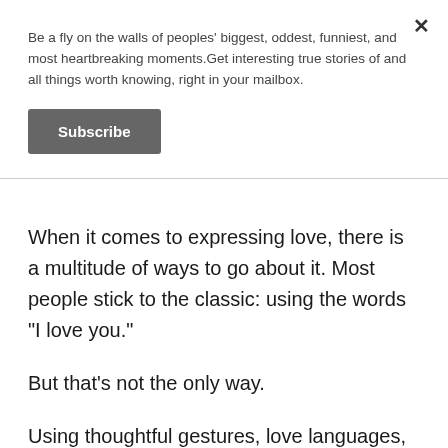Be a fly on the walls of peoples' biggest, oddest, funniest, and most heartbreaking moments.Get interesting true stories of and all things worth knowing, right in your mailbox.
Subscribe
When it comes to expressing love, there is a multitude of ways to go about it. Most people stick to the classic: using the words "I love you."
But that's not the only way.
Using thoughtful gestures, love languages, special messages, or even just remembering little details about another person are all great ways to express love.